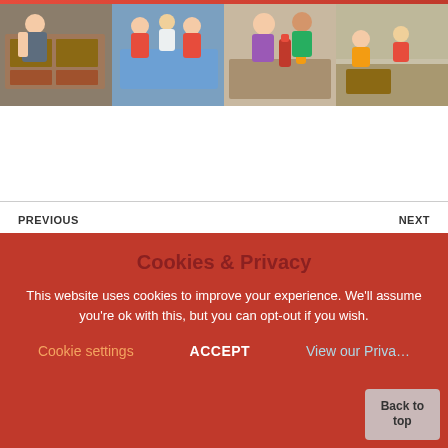[Figure (photo): Four photos of young children doing art activities in a classroom setting]
PREVIOUS
YEAR 6: BIKEABILITY
NEXT
PRE-SCHOOL STAY &
Cookies & Privacy
This website uses cookies to improve your experience. We'll assume you're ok with this, but you can opt-out if you wish.
Cookie settings   ACCEPT   View our Privacy Policy